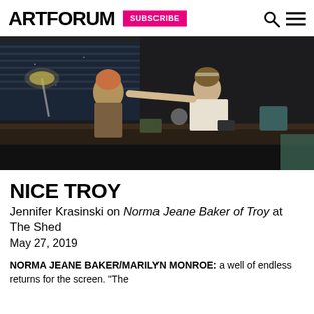ARTFORUM SUBSCRIBE
[Figure (photo): Two women on a theatrical stage set resembling an office. One woman wearing a brown suit with reddish-blonde hair, the other wearing a white dress/slip sitting on a desk reaching toward her. Dark moody office backdrop with windows showing a night sky.]
NICE TROY
Jennifer Krasinski on Norma Jeane Baker of Troy at The Shed
May 27, 2019
NORMA JEANE BAKER/MARILYN MONROE: a well of endless returns for the screen. "The